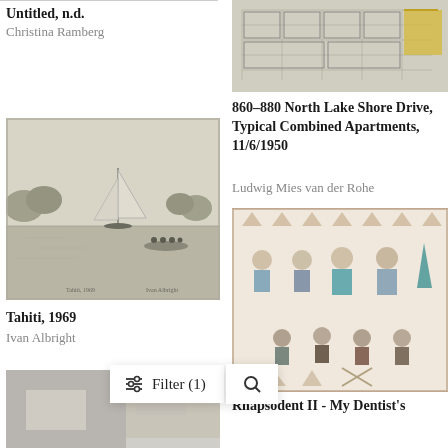Untitled, n.d.
Christina Ramberg
[Figure (photo): Architectural blueprint/floor plan drawing with yellow accent marks - 860-880 North Lake Shore Drive]
860–880 North Lake Shore Drive, Typical Combined Apartments, 11/6/1950
Ludwig Mies van der Rohe
[Figure (photo): Pencil sketch of a sailboat on water with trees in background, small rowboat with figures in foreground. Signed 'Tahiti, 1969']
Tahiti, 1969
Ivan Albright
[Figure (photo): Colorful paper doll-style artwork with decorative border showing doll figures with removable clothing and accessories]
[Figure (photo): Partial view of another artwork at bottom left]
Rhapsodent II - My Dentist's
Filter (1)